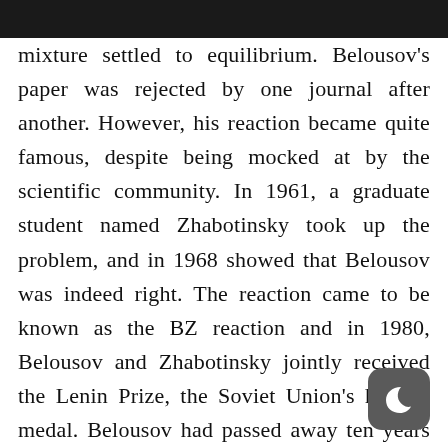mixture settled to equilibrium. Belousov's paper was rejected by one journal after another. However, his reaction became quite famous, despite being mocked at by the scientific community. In 1961, a graduate student named Zhabotinsky took up the problem, and in 1968 showed that Belousov was indeed right. The reaction came to be known as the BZ reaction and in 1980, Belousov and Zhabotinsky jointly received the Lenin Prize, the Soviet Union's highest medal. Belousov had passed away ten years earlier. He was a legend.